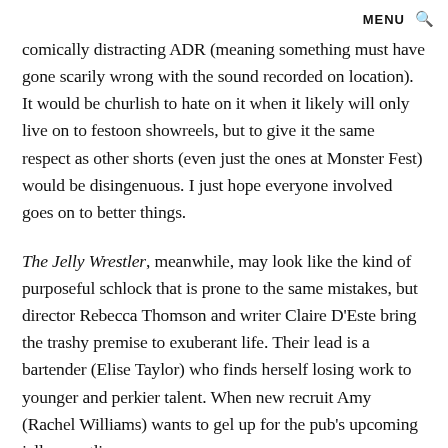MENU 🔍
comically distracting ADR (meaning something must have gone scarily wrong with the sound recorded on location). It would be churlish to hate on it when it likely will only live on to festoon showreels, but to give it the same respect as other shorts (even just the ones at Monster Fest) would be disingenuous. I just hope everyone involved goes on to better things.
The Jelly Wrestler, meanwhile, may look like the kind of purposeful schlock that is prone to the same mistakes, but director Rebecca Thomson and writer Claire D'Este bring the trashy premise to exuberant life. Their lead is a bartender (Elise Taylor) who finds herself losing work to younger and perkier talent. When new recruit Amy (Rachel Williams) wants to gel up for the pub's upcoming jelly wrestling